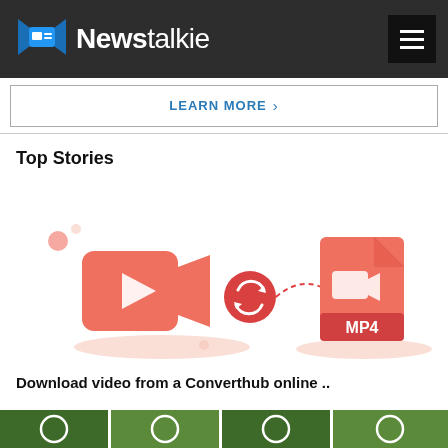Newstalkie — navigation header with logo and hamburger menu
LEARN MORE >
Top Stories
[Figure (illustration): Video to MP4 conversion illustration: a video camera icon on the left, a circular arrows (convert) icon in the center with a dashed arrow pointing right, and an MP4 file document icon on the right, all in salmon/coral red tones on white background.]
Download video from a Converthub online ..
[Figure (photo): Partial view of a photo strip showing green foliage/nature images with circular ring overlays, visible at the bottom of the page.]